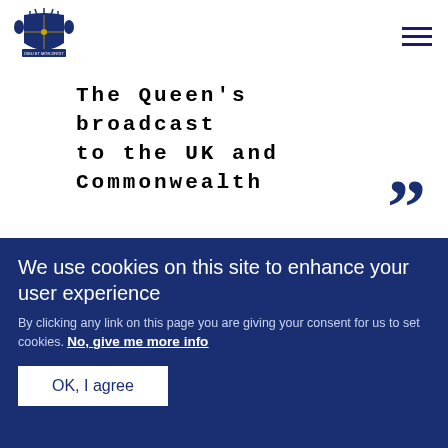[Figure (logo): Royal coat of arms / royal crest logo in blue]
The Queen's broadcast to the UK and Commonwealth
[Figure (photo): Partial photo of plant stems/flowers, blurred background]
We use cookies on this site to enhance your user experience
By clicking any link on this page you are giving your consent for us to set cookies. No, give me more info
OK, I agree